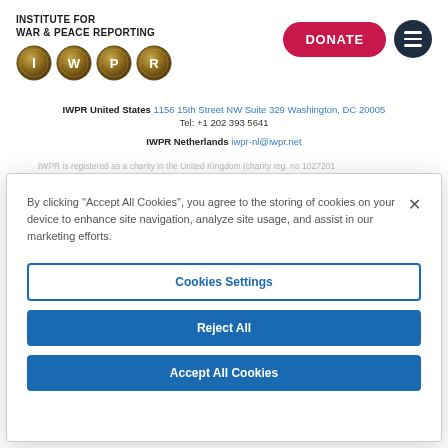[Figure (logo): IWPR logo with gold coin icons and text INSTITUTE FOR WAR & PEACE REPORTING]
IWPR United States 1156 15th Street NW Suite 329 Washington, DC 20005 Tel: +1 202 393 5641
IWPR Netherlands iwpr-nl@iwpr.net
IWPR is registered as a charity in the United Kingdom (charity reg. no 1027201
By clicking "Accept All Cookies", you agree to the storing of cookies on your device to enhance site navigation, analyze site usage, and assist in our marketing efforts.
Cookies Settings
Reject All
Accept All Cookies